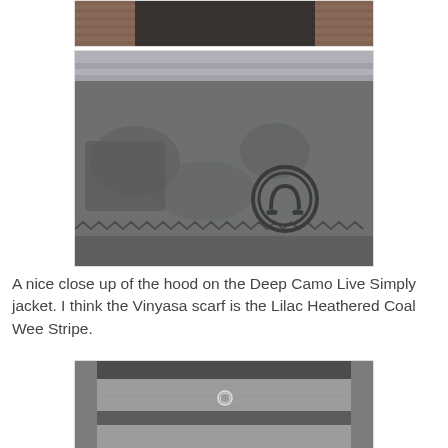[Figure (photo): Partial top view of a person wearing a dark jacket, brick wall background, cropped at top]
[Figure (photo): Close up of the hood area on the Deep Camo Live Simply jacket showing Lululemon logo embossed on grey fabric, with striped scarf visible at top]
A nice close up of the hood on the Deep Camo Live Simply jacket. I think the Vinyasa scarf is the Lilac Heathered Coal Wee Stripe.
[Figure (photo): Back view of a person wearing a grey heathered jacket with dark horizontal stripe and small Lululemon logo, outdoor background]